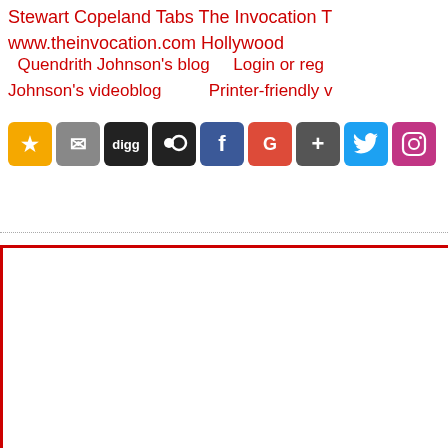Stewart Copeland Tabs The Invocation T... www.theinvocation.com Hollywood
Quendrith Johnson's blog    Login or reg... Johnson's videoblog        Printer-friendly v...
[Figure (other): Row of social sharing icon buttons: star (favorites), email, digg, myspace, facebook, google+, google+, twitter, instagram]
About | Advertise |